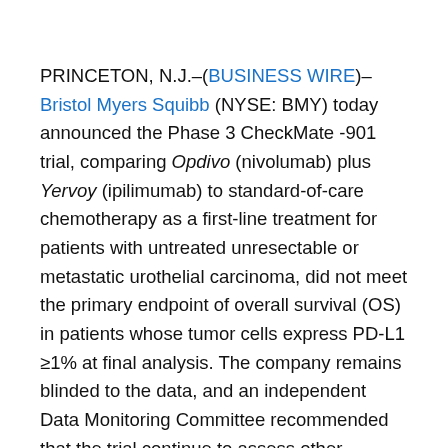PRINCETON, N.J.–(BUSINESS WIRE)–Bristol Myers Squibb (NYSE: BMY) today announced the Phase 3 CheckMate -901 trial, comparing Opdivo (nivolumab) plus Yervoy (ipilimumab) to standard-of-care chemotherapy as a first-line treatment for patients with untreated unresectable or metastatic urothelial carcinoma, did not meet the primary endpoint of overall survival (OS) in patients whose tumor cells express PD-L1 ≥1% at final analysis. The company remains blinded to the data, and an independent Data Monitoring Committee recommended that the trial continue to assess other primary and secondary endpoints. No new safety signals were observed at the time of the analysis.
“Despite some progress in recent years, metastatic urothelial carcinoma remains a difficult disease to address,